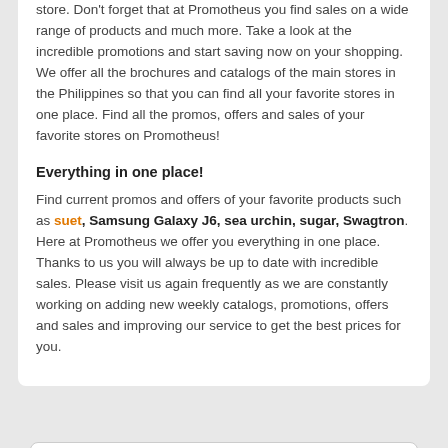store. Don't forget that at Promotheus you find sales on a wide range of products and much more. Take a look at the incredible promotions and start saving now on your shopping. We offer all the brochures and catalogs of the main stores in the Philippines so that you can find all your favorite stores in one place. Find all the promos, offers and sales of your favorite stores on Promotheus!
Everything in one place!
Find current promos and offers of your favorite products such as suet, Samsung Galaxy J6, sea urchin, sugar, Swagtron. Here at Promotheus we offer you everything in one place. Thanks to us you will always be up to date with incredible sales. Please visit us again frequently as we are constantly working on adding new weekly catalogs, promotions, offers and sales and improving our service to get the best prices for you.
Philippines